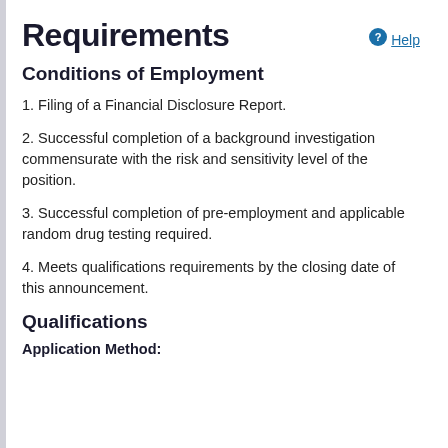Requirements
Conditions of Employment
1. Filing of a Financial Disclosure Report.
2. Successful completion of a background investigation commensurate with the risk and sensitivity level of the position.
3. Successful completion of pre-employment and applicable random drug testing required.
4. Meets qualifications requirements by the closing date of this announcement.
Qualifications
Application Method: